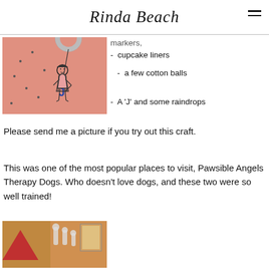Rinda Beach
[Figure (photo): A pink wall with a drawing of a girl in a dress holding a letter J, with decorative elements above]
markers,
cupcake liners
a few cotton balls
A 'J' and some raindrops
Please send me a picture if you try out this craft.
This was one of the most popular places to visit, Pawsible Angels Therapy Dogs. Who doesn't love dogs, and these two were so well trained!
[Figure (photo): A photo showing what appears to be therapy dogs and decorative objects including a red triangle shape]